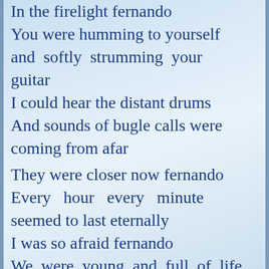In the firelight fernando
You were humming to yourself and softly strumming your guitar
I could hear the distant drums
And sounds of bugle calls were coming from afar
They were closer now fernando
Every hour every minute seemed to last eternally
I was so afraid fernando
We were young and full of life